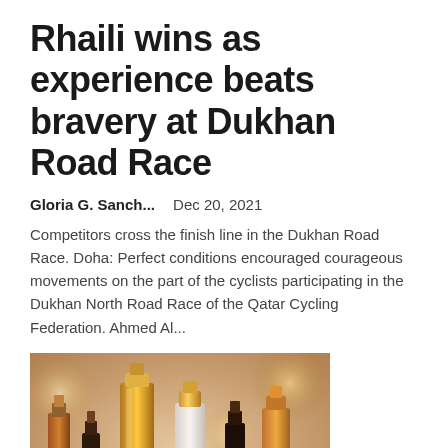Rhaili wins as experience beats bravery at Dukhan Road Race
Gloria G. Sanch...   Dec 20, 2021
Competitors cross the finish line in the Dukhan Road Race. Doha: Perfect conditions encouraged courageous movements on the part of the cyclists participating in the Dukhan North Road Race of the Qatar Cycling Federation. Ahmed Al...
[Figure (photo): Photo of various luxury perfume bottles with gold and dark glass designs on a reflective surface with bokeh background]
Five-year shareholder returns and company earnings persist